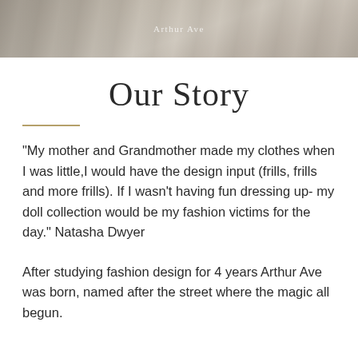[Figure (photo): Top banner showing a partial fashion/clothing photo with muted grey and beige tones, with a watermark reading 'Arthur Ave' in the center.]
Our Story
“My mother and Grandmother made my clothes when I was little,I would have the design input (frills, frills and more frills). If I wasn’t having fun dressing up- my doll collection would be my fashion victims for the day.” Natasha Dwyer
After studying fashion design for 4 years Arthur Ave was born, named after the street where the magic all begun.